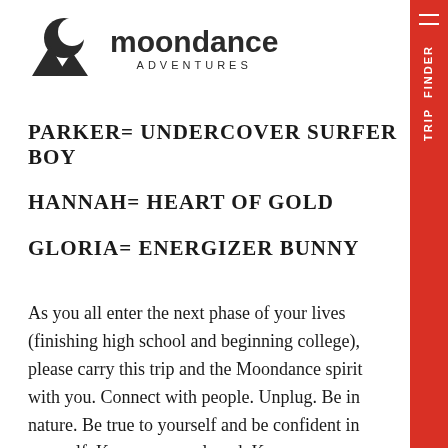[Figure (logo): Moondance Adventures logo with mountain/moon icon and text]
PARKER= UNDERCOVER SURFER BOY
HANNAH= HEART OF GOLD
GLORIA= ENERGIZER BUNNY
As you all enter the next phase of your lives (finishing high school and beginning college), please carry this trip and the Moondance spirit with you. Connect with people. Unplug. Be in nature. Be true to yourself and be confident in yourself. Know you are loved. Know you are